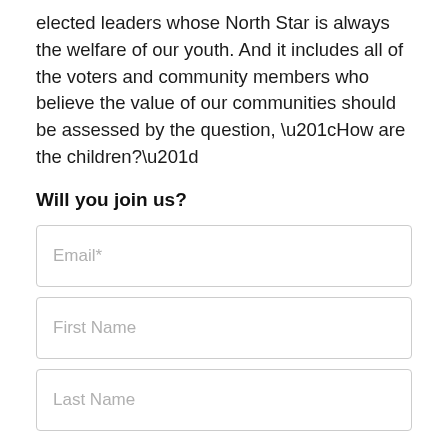elected leaders whose North Star is always the welfare of our youth. And it includes all of the voters and community members who believe the value of our communities should be assessed by the question, “How are the children?”
Will you join us?
[Figure (screenshot): Email input field with placeholder text 'Email*']
[Figure (screenshot): First Name input field with placeholder text 'First Name']
[Figure (screenshot): Last Name input field with placeholder text 'Last Name']
[Figure (screenshot): Hot pink 'SIGN UP' button]